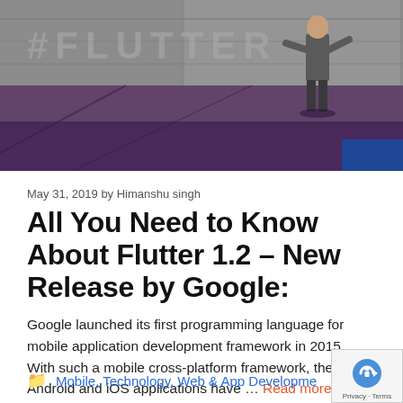[Figure (photo): A person standing on a stage with purple lighting, concrete wall backdrop with text partially visible at top, conference/keynote presentation setting.]
May 31, 2019 by Himanshu singh
All You Need to Know About Flutter 1.2 – New Release by Google:
Google launched its first programming language for mobile application development framework in 2015. With such a mobile cross-platform framework, the Android and iOS applications have … Read more
Mobile, Technology, Web & App Development